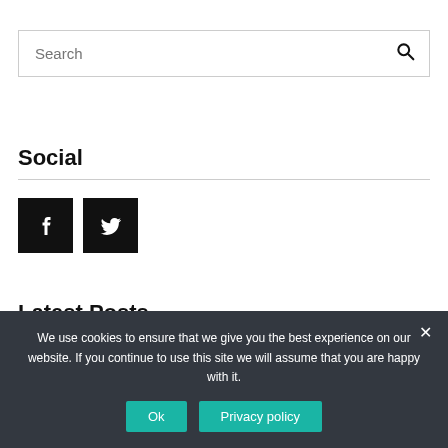Search
Social
[Figure (illustration): Two black square social media icon buttons: Facebook (f) and Twitter (bird icon)]
Latest Posts
We use cookies to ensure that we give you the best experience on our website. If you continue to use this site we will assume that you are happy with it.
Ok
Privacy policy